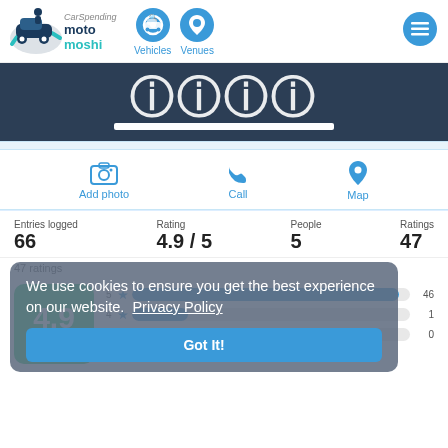[Figure (logo): CarSpending Moto Moshi logo with car silhouette and teal/dark blue branding, plus navigation icons for Vehicles, Venues, and hamburger menu]
[Figure (screenshot): Dark navy banner with large bold white text partially visible (social media icons/text), and a white horizontal bar]
[Figure (infographic): Action row with Add photo (camera icon), Call (phone icon), Map (pin icon) in blue]
| Entries logged | Rating | People | Ratings |
| --- | --- | --- | --- |
| 66 | 4.9 / 5 | 5 | 47 |
47 ratings
[Figure (bar-chart): Rating breakdown]
[Figure (infographic): Cookie consent overlay: 'We use cookies to ensure you get the best experience on our website. Privacy Policy' with Got It! button]